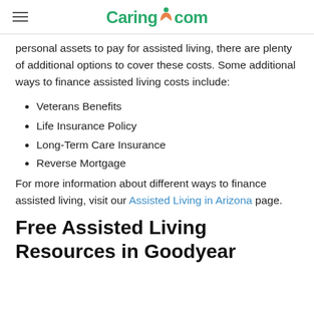Caring.com
personal assets to pay for assisted living, there are plenty of additional options to cover these costs. Some additional ways to finance assisted living costs include:
Veterans Benefits
Life Insurance Policy
Long-Term Care Insurance
Reverse Mortgage
For more information about different ways to finance assisted living, visit our Assisted Living in Arizona page.
Free Assisted Living Resources in Goodyear